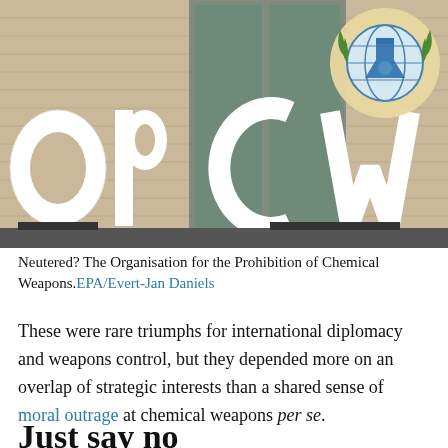[Figure (photo): Photograph of the OPCW building exterior showing large white letters spelling OPCW on a brick wall, with the OPCW globe-and-laurel logo visible in the upper right corner.]
Neutered? The Organisation for the Prohibition of Chemical Weapons. EPA/Evert-Jan Daniels
These were rare triumphs for international diplomacy and weapons control, but they depended more on an overlap of strategic interests than a shared sense of moral outrage at chemical weapons per se.
Just say no